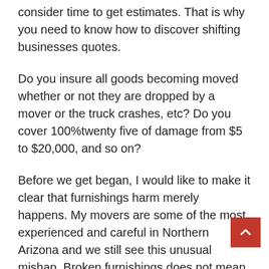consider time to get estimates. That is why you need to know how to discover shifting businesses quotes.
Do you insure all goods becoming moved whether or not they are dropped by a mover or the truck crashes, etc? Do you cover 100%twenty five of damage from $5 to $20,000, and so on?
Before we get began, I would like to make it clear that furnishings harm merely happens. My movers are some of the most experienced and careful in Northern Arizona and we still see this unusual mishap. Broken furnishings does not mean a San Diego Moving Company is low high quality.
However, in ninety five% twenty five of